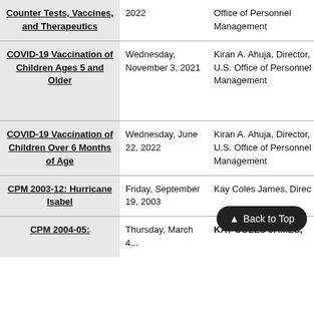| Title | Date | Author/Issuer | Document |
| --- | --- | --- | --- |
| Counter Tests, Vaccines, and Therapeutics | 2022 | Office of Personnel Management | COV... Cove... |
| COVID-19 Vaccination of Children Ages 5 and Older | Wednesday, November 3, 2021 | Kiran A. Ahuja, Director, U.S. Office of Personnel Management | C... COV... Vacc... Chil... Olde... |
| COVID-19 Vaccination of Children Over 6 Months of Age | Wednesday, June 22, 2022 | Kiran A. Ahuja, Director, U.S. Office of Personnel Management | C... 10.p... |
| CPM 2003-12: Hurricane Isabel | Friday, September 19, 2003 | Kay Coles James, Direc... |  |
| CPM 2004-05: | Thursday, March 4... | KAY COLES JAMES... |  |